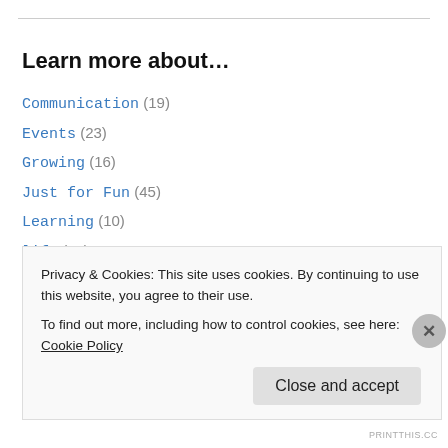Learn more about…
Communication (19)
Events (23)
Growing (16)
Just for Fun (45)
Learning (10)
life (18)
Managing Behavior (13)
Managing Ministry (40)
Midday Connection (1)
News You Can Use (22)
Privacy & Cookies: This site uses cookies. By continuing to use this website, you agree to their use.
To find out more, including how to control cookies, see here: Cookie Policy
Close and accept